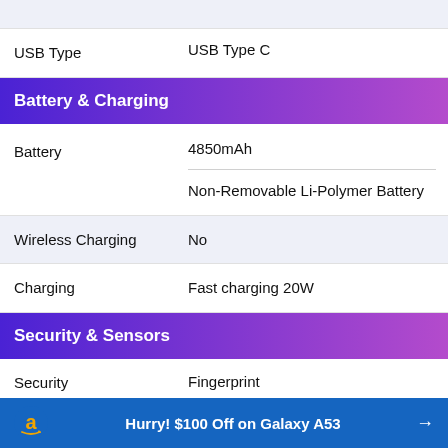| Spec | Value |
| --- | --- |
| USB Type | USB Type C |
| Battery | 4850mAh / Non-Removable Li-Polymer Battery |
| Wireless Charging | No |
| Charging | Fast charging 20W |
Battery & Charging
Security & Sensors
| Spec | Value |
| --- | --- |
| Security | Fingerprint / Face Unlock |
Hurry! $100 Off on Galaxy A53